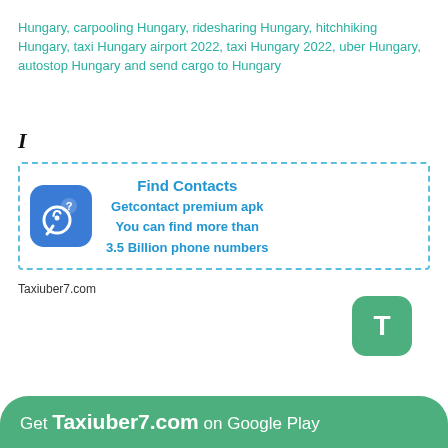Hungary, carpooling Hungary, ridesharing Hungary, hitchhiking Hungary, taxi Hungary airport 2022, taxi Hungary 2022, uber Hungary, autostop Hungary and send cargo to Hungary
I
[Figure (infographic): Advertisement box with dashed blue border containing a phone/contact icon on blue rounded square background and text: Find Contacts, Getcontact premium apk, You can find more than 3.5 Billion phone numbers]
Taxiuber7.com
[Figure (other): Green rounded square button with letter T]
Get Taxiuber7.com on Google Play